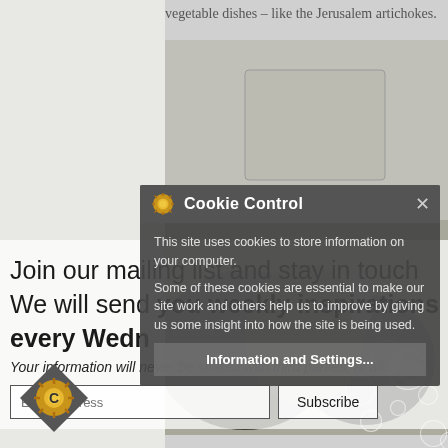vegetable dishes – like the Jerusalem artichokes.
[Figure (screenshot): Background photo of a kitchen/garden area with trees and bubbles overlay]
Join our mailing list and stay in touch
We will send you weekly inspirations every Wedn
Your information will never be shared with third parties, at all.
Email address
Subscribe
[Figure (screenshot): Cookie Control modal dialog with gear icon, close button, description text about cookies, and Information and Settings button]
Cookie Control
This site uses cookies to store information on your computer.
Some of these cookies are essential to make our site work and others help us to improve by giving us some insight into how the site is being used.
Information and Settings...